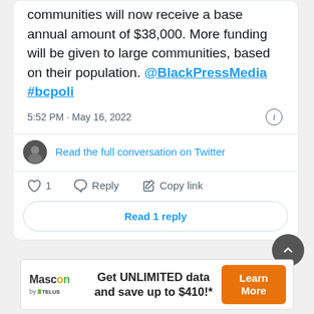communities will now receive a base annual amount of $38,000. More funding will be given to large communities, based on their population. @BlackPressMedia #bcpoli
5:52 PM · May 16, 2022
Read the full conversation on Twitter
1  Reply  Copy link
Read 1 reply
[Figure (infographic): Advertisement banner: Mascon by TELUS logo on left, bold text 'Get UNLIMITED data and save up to $410!*' in center, orange 'Learn More' button on right]